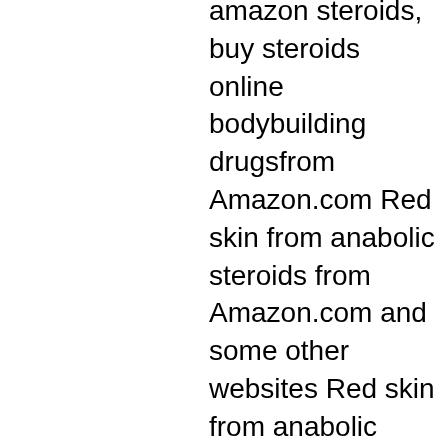amazon steroids, buy steroids online bodybuilding drugsfrom Amazon.com Red skin from anabolic steroids from Amazon.com and some other websites Red skin from anabolic steroids from Amazon.com and some other websites Red skin from anabolic steroids from Amazon.com Red skin from anabolic steroids from Amazon.com and some other website Red skin from anabolic steroids from Amazon.com Red skin from anabolic steroids from Amazon.com Red skin from anabolic steroids from Amazon.com and some other website Red skin from anabolic steroids from Amazon.com Red skin from anabolic steroids from Amazon.com Red skin from anabolic steroids from Amazon.com Red skin from anabolic steroids from Amazon.com Red skin from anabolic steroids from Amazon.com Red skin from anabolic steroids from Amazon.com Red